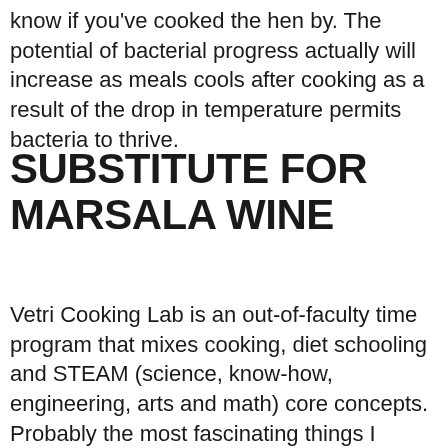know if you've cooked the hen by. The potential of bacterial progress actually will increase as meals cools after cooking as a result of the drop in temperature permits bacteria to thrive.
SUBSTITUTE FOR MARSALA WINE
Vetri Cooking Lab is an out-of-faculty time program that mixes cooking, diet schooling and STEAM (science, know-how, engineering, arts and math) core concepts. Probably the most fascinating things I realized about during this research was the work of the anthropologist Amy Trubek. She shows that presently a variety of